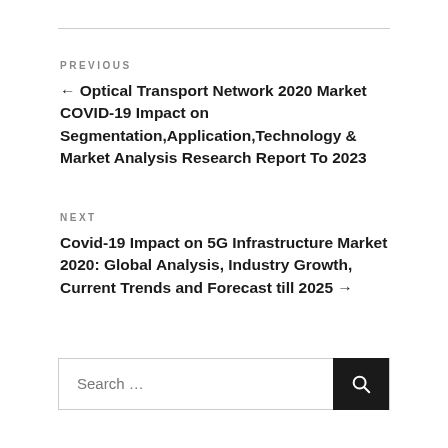PREVIOUS
← Optical Transport Network 2020 Market COVID-19 Impact on Segmentation,Application,Technology & Market Analysis Research Report To 2023
NEXT
Covid-19 Impact on 5G Infrastructure Market 2020: Global Analysis, Industry Growth, Current Trends and Forecast till 2025 →